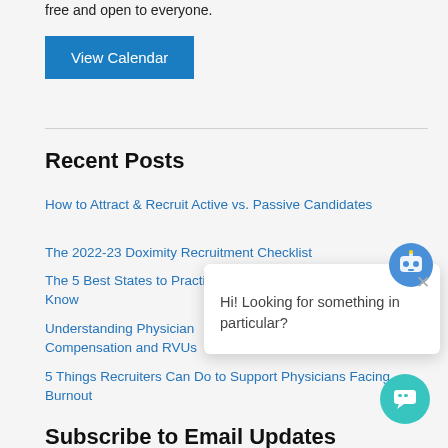free and open to everyone.
View Calendar
Recent Posts
How to Attract & Recruit Active vs. Passive Candidates
The 2022-23 Doximity Recruitment Checklist
The 5 Best States to Practice Medicine: What You Should Know
Understanding Physician Compensation and RVUs
5 Things Recruiters Can Do to Support Physicians Facing Burnout
[Figure (other): Chat popup with robot icon and message 'Hi! Looking for something in particular?' with close button and teal chat button]
Subscribe to Email Updates